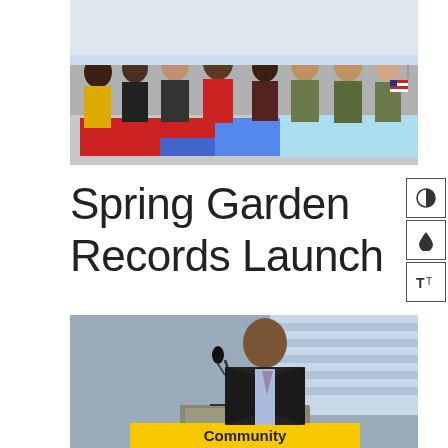[Figure (photo): Group of people standing behind a table with flags and papers, including people in military camouflage and civilian clothes]
Spring Garden Records Launch
[Figure (photo): Man in a dark suit speaking at a podium/lectern with a microphone, with a yellow sign reading 'Community' partially visible at the bottom]